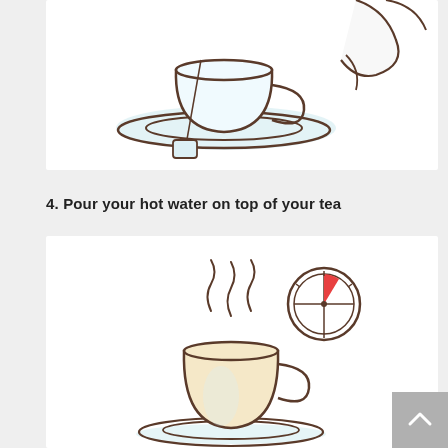[Figure (illustration): Illustration of a white teacup with a tea bag on a saucer, with light blue shadow, and a hand/kettle partially visible at top right, cartoon line-art style.]
4. Pour your hot water on top of your tea
[Figure (illustration): Illustration of a teacup filled with light beige tea, with steam curls rising above it, and a clock/timer icon to the upper right, cartoon line-art style.]